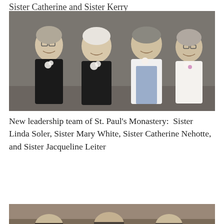Sister Catherine and Sister Kerry
[Figure (photo): Four women standing together, each wearing a corsage. They are the new leadership team of St. Paul's Monastery.]
New leadership team of St. Paul's Monastery:  Sister Linda Soler, Sister Mary White, Sister Catherine Nehotte, and Sister Jacqueline Leiter
[Figure (photo): Partial view of another group photo at the bottom of the page.]